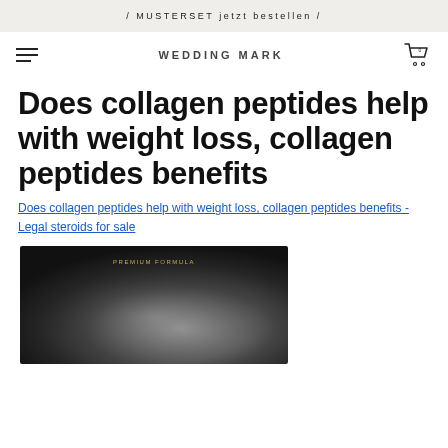/ MUSTERSET jetzt bestellen /
WEDDING MARK
Does collagen peptides help with weight loss, collagen peptides benefits
Does collagen peptides help with weight loss, collagen peptides benefits - Legal steroids for sale
[Figure (photo): Dark blurred product/supplement image with golden text label at top]